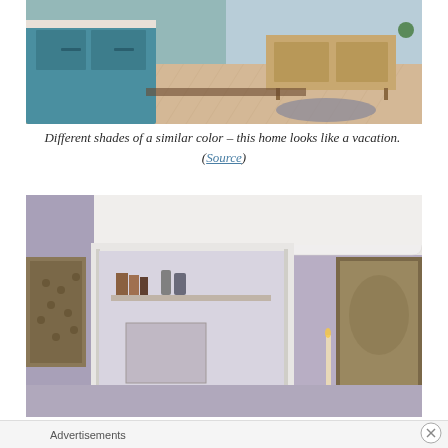[Figure (photo): Interior photo showing a kitchen with teal/blue cabinetry and a herringbone wood floor, and a living area visible in the background with a wooden sideboard and light blue wall paneling.]
Different shades of a similar color – this home looks like a vacation.  (Source)
[Figure (photo): Interior photo of a room with lavender/mauve painted walls, white crown molding, a doorway leading to another room with shelving, and framed artwork on the walls.]
Advertisements